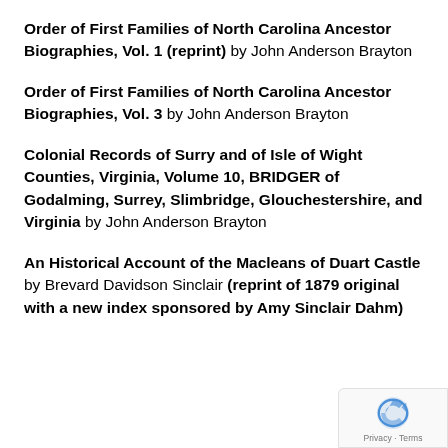Order of First Families of North Carolina Ancestor Biographies, Vol. 1 (reprint) by John Anderson Brayton
Order of First Families of North Carolina Ancestor Biographies, Vol. 3 by John Anderson Brayton
Colonial Records of Surry and of Isle of Wight Counties, Virginia, Volume 10, BRIDGER of Godalming, Surrey, Slimbridge, Glouchestershire, and Virginia by John Anderson Brayton
An Historical Account of the Macleans of Duart Castle by Brevard Davidson Sinclair (reprint of 1879 original with a new index sponsored by Amy Sinclair Dahm)